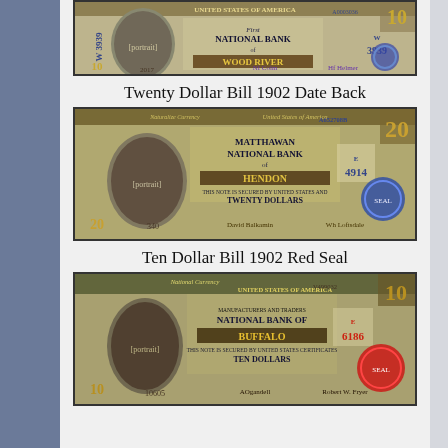[Figure (photo): Ten Dollar Bill 1902 Date Back - First National Bank of Wood River, charter number 3939, serial W3939, check number 2017]
Twenty Dollar Bill 1902 Date Back
[Figure (photo): Twenty Dollar Bill 1902 Date Back - Matthiawan National Bank of Hendon, charter number 4914, serial E4914, check number 340, serial A652708B]
Ten Dollar Bill 1902 Red Seal
[Figure (photo): Ten Dollar Bill 1902 Red Seal - Manufacturers and Traders National Bank of Buffalo, charter number 6186, serial E6186, check number 10605, serial V499032]